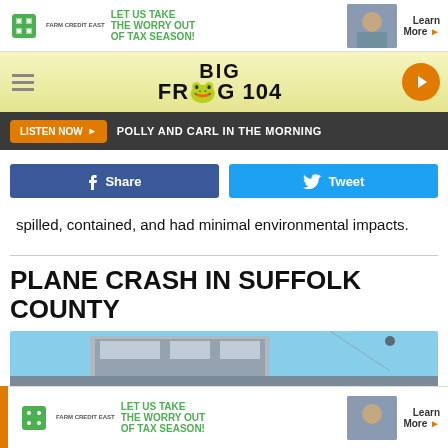[Figure (other): Farm Credit East advertisement banner: LET US TAKE THE WORRY OUT OF TAX SEASON! Learn More]
[Figure (logo): Big Frog 104 radio station logo bar with hamburger menu and play button]
[Figure (other): Listen Now button with text POLLY AND CARL IN THE MORNING]
[Figure (other): Facebook Share button and Twitter Tweet button]
spilled, contained, and had minimal environmental impacts.
PLANE CRASH IN SUFFOLK COUNTY
[Figure (photo): Photo of a building with blue sky background]
[Figure (other): Farm Credit East advertisement banner at bottom: LET US TAKE THE WORRY OUT OF TAX SEASON! Learn More]